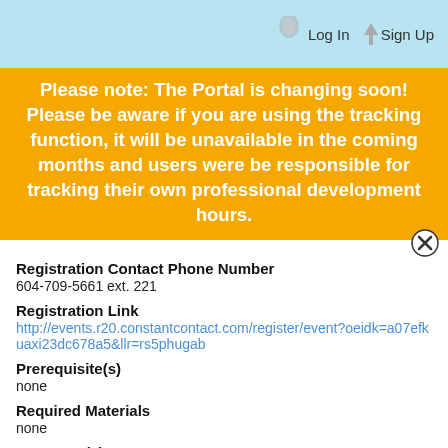Log In   Sign Up
Please note: The Portal is changing soon! Please be aware if you are using the tracking function, it will be unavailable in the coming months and users were be responsible for tracking their own professional development hours.
Registration Contact Phone Number
604-709-5661 ext. 221
Registration Link
http://events.r20.constantcontact.com/register/event?oeidk=a07efkuaxi23dc678a5&llr=rs5phugab
Prerequisite(s)
none
Required Materials
none
Presenter(s)
Sandra Yuen